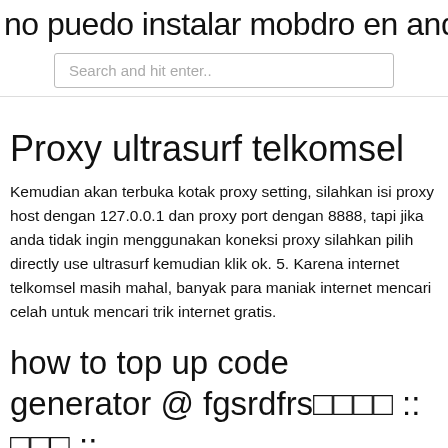no puedo instalar mobdro en android
Search and hit enter..
Proxy ultrasurf telkomsel
Kemudian akan terbuka kotak proxy setting, silahkan isi proxy host dengan 127.0.0.1 dan proxy port dengan 8888, tapi jika anda tidak ingin menggunakan koneksi proxy silahkan pilih directly use ultrasurf kemudian klik ok. 5. Karena internet telkomsel masih mahal, banyak para maniak internet mencari celah untuk mencari trik internet gratis.
how to top up code generator @ fgsrdfrs□□□□ :: □□□ ::